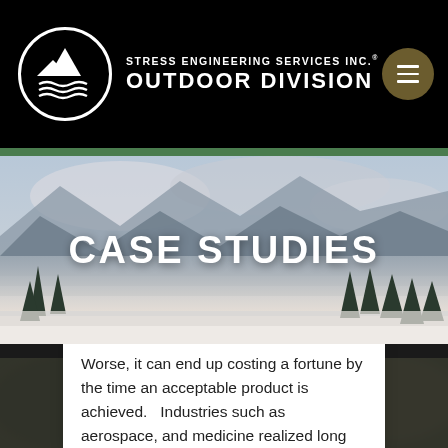STRESS ENGINEERING SERVICES INC.® OUTDOOR DIVISION
CASE STUDIES
[Figure (photo): Misty mountain landscape with pine trees in fog, used as hero background for Case Studies section]
[Figure (photo): Blurred outdoor nature scene used as background for article card section]
Worse, it can end up costing a fortune by the time an acceptable product is achieved.   Industries such as aerospace, and medicine realized long